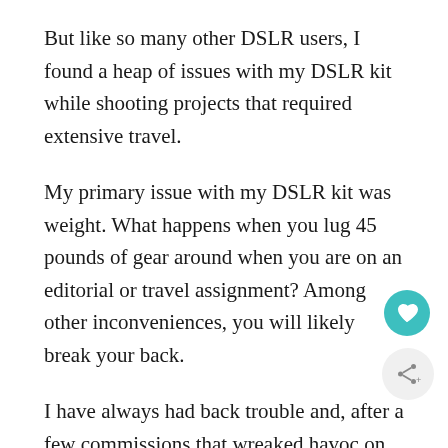But like so many other DSLR users, I found a heap of issues with my DSLR kit while shooting projects that required extensive travel.
My primary issue with my DSLR kit was weight. What happens when you lug 45 pounds of gear around when you are on an editorial or travel assignment? Among other inconveniences, you will likely break your back.
I have always had back trouble and, after a few commissions that wreaked havoc on my body, I decided that it was time to move to a more conducive set-up for all of my photography work.